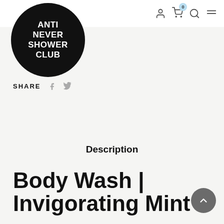[Figure (logo): Anti Never Shower Club logo — black circle with white bold text reading ANTI NEVER SHOWER CLUB]
Navigation icons: user account, shopping cart (0 items), search, menu
SHARE
Description
Body Wash | Invigorating Mint